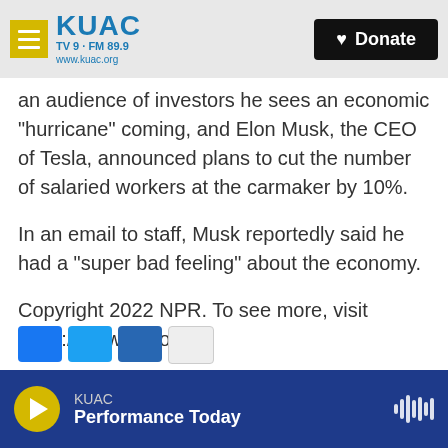KUAC TV 9 · FM 89.9 www.kuac.org | Donate
an audience of investors he sees an economic "hurricane" coming, and Elon Musk, the CEO of Tesla, announced plans to cut the number of salaried workers at the carmaker by 10%.
In an email to staff, Musk reportedly said he had a "super bad feeling" about the economy.
Copyright 2022 NPR. To see more, visit https://www.npr.org.
NPR News
KUAC — Performance Today